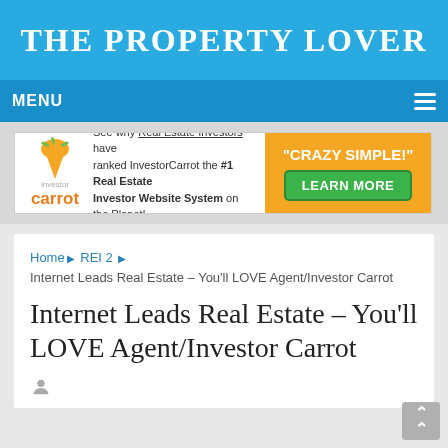THE PROPERTY LOVER
MENU
[Figure (screenshot): InvestorCarrot advertisement banner: 'See why Real Estate Investors have ranked InvestorCarrot the #1 Real Estate Investor Website System on the Planet!' with orange section reading '"CRAZY SIMPLE!" LEARN MORE']
Home ▶ REI 2 ▶ Internet Leads Real Estate – You'll LOVE Agent/Investor Carrot
Internet Leads Real Estate – You'll LOVE Agent/Investor Carrot